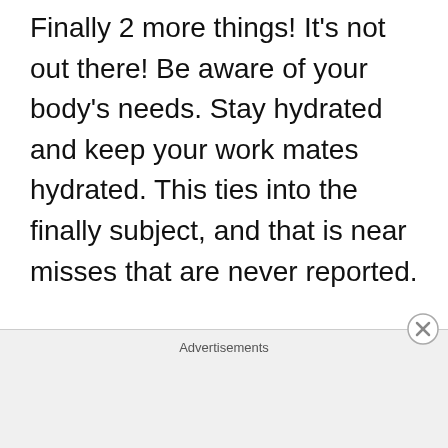Finally 2 more things! It's not out there! Be aware of your body's needs. Stay hydrated and keep your work mates hydrated. This ties into the finally subject, and that is near misses that are never reported.

Truck, specifically your work truck. Do you have a favorite work truck for
Advertisements